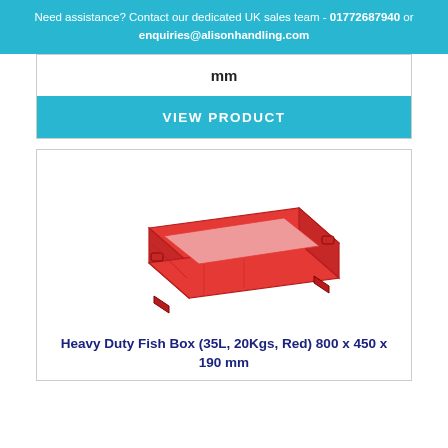Need assistance? Contact our dedicated UK sales team - 01772687940 or enquiries@alisonhandling.com
mm
VIEW PRODUCT
[Figure (photo): Red heavy duty fish box, rectangular plastic crate with handles, 800x450x190mm, 35L, 20Kgs capacity]
Heavy Duty Fish Box (35L, 20Kgs, Red) 800 x 450 x 190 mm